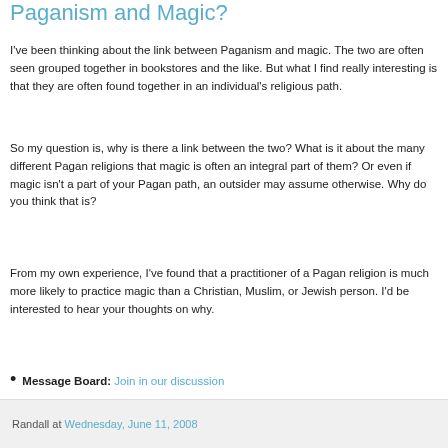Paganism and Magic?
I've been thinking about the link between Paganism and magic. The two are often seen grouped together in bookstores and the like. But what I find really interesting is that they are often found together in an individual's religious path.
So my question is, why is there a link between the two? What is it about the many different Pagan religions that magic is often an integral part of them? Or even if magic isn't a part of your Pagan path, an outsider may assume otherwise. Why do you think that is?
From my own experience, I've found that a practitioner of a Pagan religion is much more likely to practice magic than a Christian, Muslim, or Jewish person. I'd be interested to hear your thoughts on why.
Message Board: Join in our discussion
Randall at Wednesday, June 11, 2008